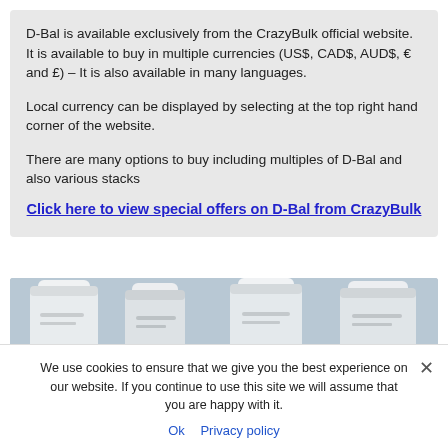D-Bal is available exclusively from the CrazyBulk official website. It is available to buy in multiple currencies (US$, CAD$, AUD$, € and £) – It is also available in many languages.
Local currency can be displayed by selecting at the top right hand corner of the website.
There are many options to buy including multiples of D-Bal and also various stacks
Click here to view special offers on D-Bal from CrazyBulk
[Figure (photo): Photo of several white supplement bottles with white caps lined up in a row against a light blue background]
We use cookies to ensure that we give you the best experience on our website. If you continue to use this site we will assume that you are happy with it.
Ok   Privacy policy